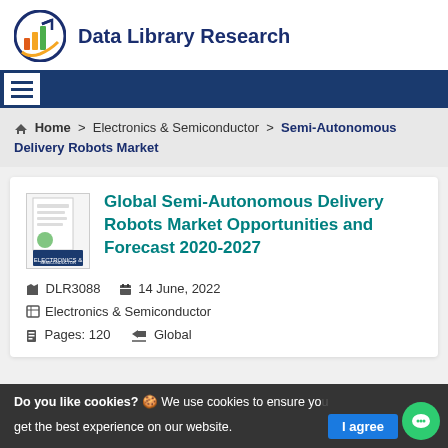[Figure (logo): Data Library Research logo: circular icon with colored bar chart and arrow, next to bold text 'Data Library Research' in navy blue]
[Figure (other): Navigation bar with hamburger menu icon on dark blue background]
🏠 Home > Electronics & Semiconductor > Semi-Autonomous Delivery Robots Market
Global Semi-Autonomous Delivery Robots Market Opportunities and Forecast 2020-2027
DLR3088   14 June, 2022
Electronics & Semiconductor
Pages: 120   Global
Do you like cookies? 🍪 We use cookies to ensure you get the best experience on our website.